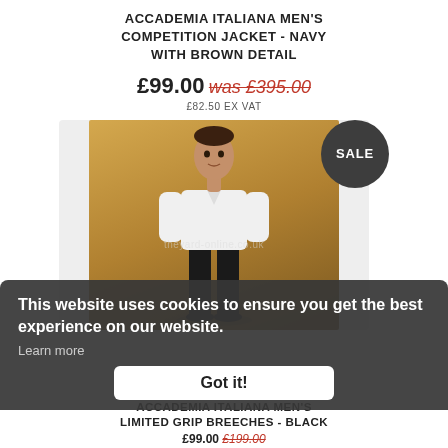ACCADEMIA ITALIANA MEN'S COMPETITION JACKET - NAVY WITH BROWN DETAIL
£99.00 was £395.00
£82.50 EX VAT
[Figure (photo): Man wearing a white competition jacket and black trousers, standing against a gold/brown background. A circular dark grey SALE badge is in the top right. Watermark reads theyard-online.co.uk]
This website uses cookies to ensure you get the best experience on our website.
Learn more
Got it!
ACCADEMIA ITALIANA
ACCADEMIA ITALIANA MEN'S LIMITED GRIP BREECHES - BLACK
£99.00  £199.00